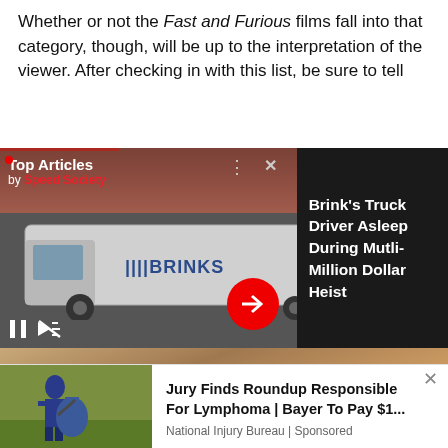Whether or not the Fast and Furious films fall into that category, though, will be up to the interpretation of the viewer. After checking in with this list, be sure to tell
[Figure (screenshot): Ad widget showing a Brinks armored truck video with Top Articles header by Speed Society, mute and pause controls, dots and X buttons, red arrow button, and article title on dark right panel]
Brink’s Truck Driver Asleep During Mutli-Million Dollar Heist
[Figure (screenshot): Video thumbnail of a woman with brown hair with a YouTube play button overlay]
[Figure (screenshot): Bottom sponsored ad with outdoor sprayer image on left and Jury Finds Roundup Responsible For Lymphoma | Bayer To Pay $1... headline, National Injury Bureau Sponsored]
Jury Finds Roundup Responsible For Lymphoma | Bayer To Pay $1...
National Injury Bureau | Sponsored